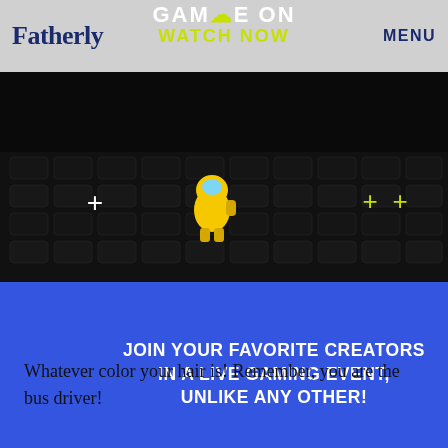Fatherly | GAME ON WATCH NOW | MENU
[Figure (screenshot): Dark gaming banner with keyboard background, yellow Among Us character, white and yellow-green plus signs, promoting a live gaming event]
[Figure (infographic): Blue banner with white bold text: JOIN YOUR FAVORITE CREATORS IN A LIVE GAMING EVENT, UNLIKE ANY OTHER! with a 3D game controller D-pad on the left]
POWERED BY CONCERT
FEEDBACK
Whatever color your hair is! Remember, you are the bus driver!